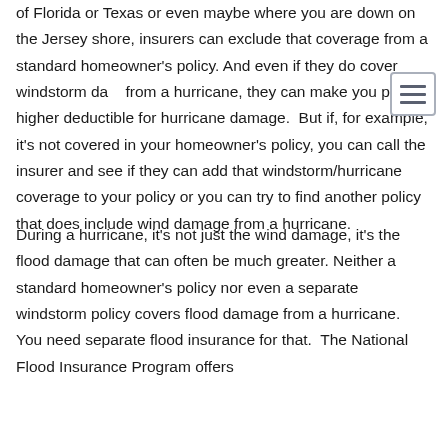of Florida or Texas or even maybe where you are down on the Jersey shore, insurers can exclude that coverage from a standard homeowner's policy. And even if they do cover windstorm damage from a hurricane, they can make you pay a higher deductible for hurricane damage. But if, for example, it's not covered in your homeowner's policy, you can call the insurer and see if they can add that windstorm/hurricane coverage to your policy or you can try to find another policy that does include wind damage from a hurricane.
During a hurricane, it's not just the wind damage, it's the flood damage that can often be much greater. Neither a standard homeowner's policy nor even a separate windstorm policy covers flood damage from a hurricane. You need separate flood insurance for that. The National Flood Insurance Program offers